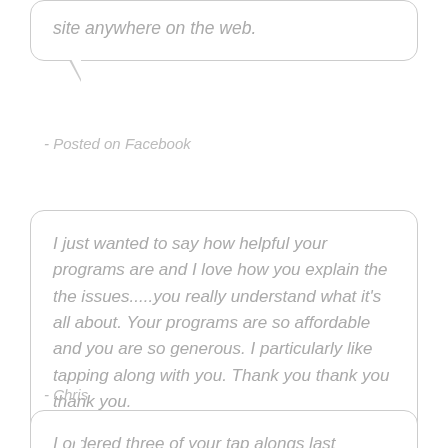site anywhere on the web.
- Posted on Facebook
I just wanted to say how helpful your programs are and I love how you explain the the issues.....you really understand what it's all about. Your programs are so affordable and you are so generous. I particularly like tapping along with you. Thank you thank you thank you.
- Chris
I ordered three of your tap alongs last